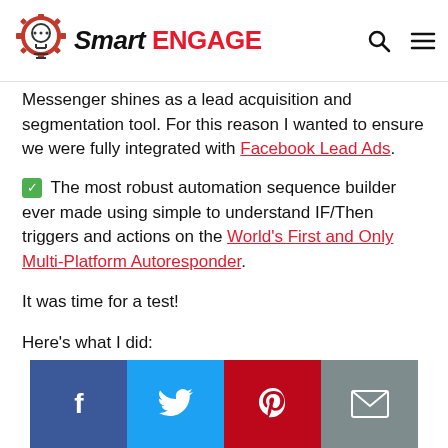Smart ENGAGE
Messenger shines as a lead acquisition and segmentation tool. For this reason I wanted to ensure we were fully integrated with Facebook Lead Ads.
✅ The most robust automation sequence builder ever made using simple to understand IF/Then triggers and actions on the World's First and Only Multi-Platform Autoresponder.
It was time for a test!
Here's what I did:
Step 1: Created two identical Facebook Messenger Ads (same targeting, image, copy etc) for the same
Social share buttons: Facebook, Twitter, Pinterest, Email